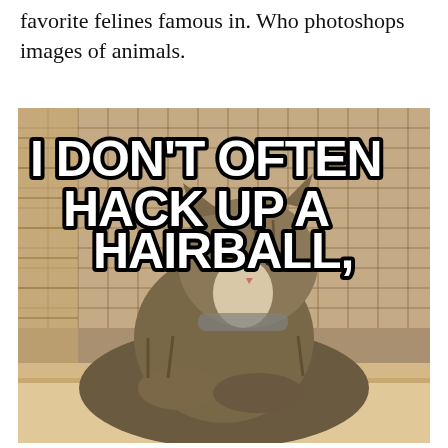favorite felines famous in. Who photoshops images of animals.
[Figure (photo): Cat meme photo showing a tabby cat lounging on a cushion in front of a wicker/grid background. Large bold white Impact-style text overlaid reads: 'I DON'T OFTEN HACK UP A HAIRBALL,']